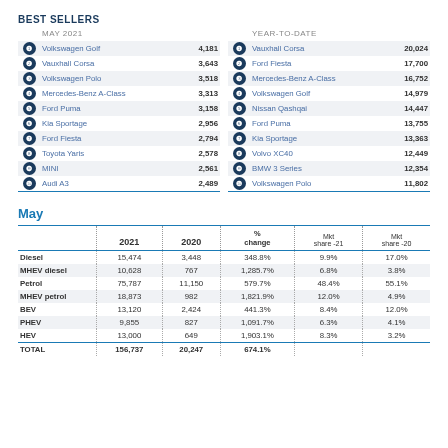BEST SELLERS
| # | Model | Sales | # | Model | Sales |
| --- | --- | --- | --- | --- | --- |
| MAY 2021 |  |  | YEAR-TO-DATE |  |  |
| 1 | Volkswagen Golf | 4,181 | 1 | Vauxhall Corsa | 20,024 |
| 2 | Vauxhall Corsa | 3,643 | 2 | Ford Fiesta | 17,700 |
| 3 | Volkswagen Polo | 3,518 | 3 | Mercedes-Benz A-Class | 16,752 |
| 4 | Mercedes-Benz A-Class | 3,313 | 4 | Volkswagen Golf | 14,979 |
| 5 | Ford Puma | 3,158 | 5 | Nissan Qashqai | 14,447 |
| 6 | Kia Sportage | 2,956 | 6 | Ford Puma | 13,755 |
| 7 | Ford Fiesta | 2,794 | 7 | Kia Sportage | 13,363 |
| 8 | Toyota Yaris | 2,578 | 8 | Volvo XC40 | 12,449 |
| 9 | MINI | 2,561 | 9 | BMW 3 Series | 12,354 |
| 10 | Audi A3 | 2,489 | 10 | Volkswagen Polo | 11,802 |
May
|  | 2021 | 2020 | % change | Mkt share -21 | Mkt share -20 |
| --- | --- | --- | --- | --- | --- |
| Diesel | 15,474 | 3,448 | 348.8% | 9.9% | 17.0% |
| MHEV diesel | 10,628 | 767 | 1,285.7% | 6.8% | 3.8% |
| Petrol | 75,787 | 11,150 | 579.7% | 48.4% | 55.1% |
| MHEV petrol | 18,873 | 982 | 1,821.9% | 12.0% | 4.9% |
| BEV | 13,120 | 2,424 | 441.3% | 8.4% | 12.0% |
| PHEV | 9,855 | 827 | 1,091.7% | 6.3% | 4.1% |
| HEV | 13,000 | 649 | 1,903.1% | 8.3% | 3.2% |
| TOTAL | 156,737 | 20,247 | 674.1% |  |  |